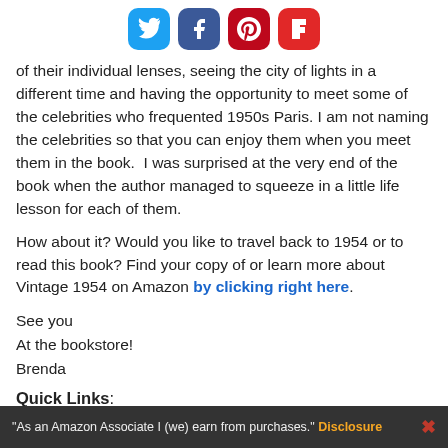[Figure (other): Social sharing icons: Twitter (blue), Facebook (dark blue), Pinterest (red), Flipboard (red)]
of their individual lenses, seeing the city of lights in a different time and having the opportunity to meet some of the celebrities who frequented 1950s Paris. I am not naming the celebrities so that you can enjoy them when you meet them in the book.  I was surprised at the very end of the book when the author managed to squeeze in a little life lesson for each of them.
How about it? Would you like to travel back to 1954 or to read this book? Find your copy of or learn more about Vintage 1954 on Amazon by clicking right here.
See you
At the bookstore!
Brenda
Quick Links:
Buy your copy of Vintage 1954 on Amazon.
"As an Amazon Associate I (we) earn from purchases." Disclosure  X